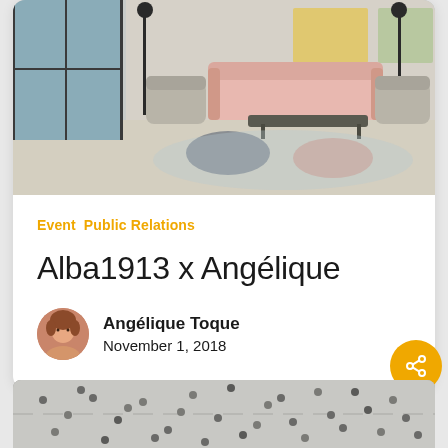[Figure (photo): Interior room photo showing a modern living space with pink sofa, grey poufs, armchairs, and patterned rug near large windows]
Event  Public Relations
Alba1913 x Angélique
Angélique Toque
November 1, 2018
[Figure (photo): Aerial view of a crowd of people walking on a street/plaza]